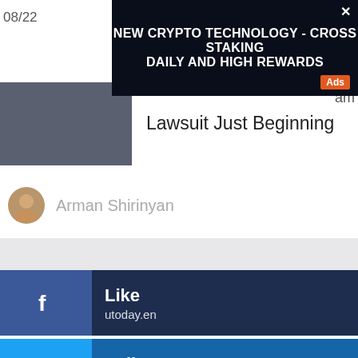[Figure (infographic): Dark blue/black ad banner: NEW CRYPTO TECHNOLOGY - CROSS STAKING DAILY AND HIGH REWARDS, with Ads badge and X close button]
08/22
Lawsuit Just Beginning
Arman Shirinyan
Like
utoday.en
Follow
@utoday_en
Watch
utoday
Join
@utoday_en